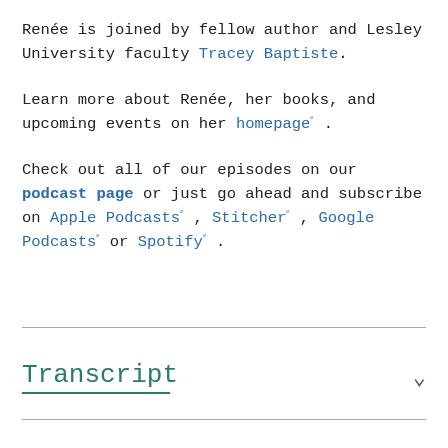Renée is joined by fellow author and Lesley University faculty Tracey Baptiste.
Learn more about Renée, her books, and upcoming events on her homepageᵉ .
Check out all of our episodes on our podcast page or just go ahead and subscribe on Apple Podcastsᵉ , Stitcherᵉ , Google Podcastsᵉ or Spotifyᵉ .
Transcript